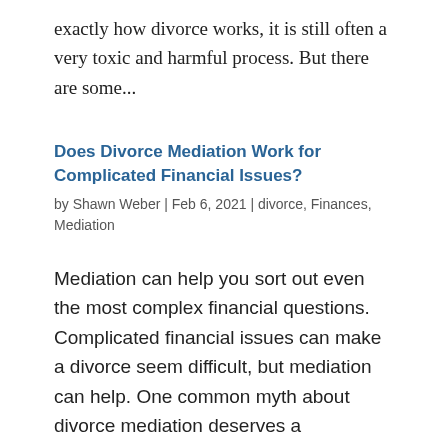exactly how divorce works, it is still often a very toxic and harmful process. But there are some...
Does Divorce Mediation Work for Complicated Financial Issues?
by Shawn Weber | Feb 6, 2021 | divorce, Finances, Mediation
Mediation can help you sort out even the most complex financial questions. Complicated financial issues can make a divorce seem difficult, but mediation can help. One common myth about divorce mediation deserves a debunking: You can't mediate when there are...